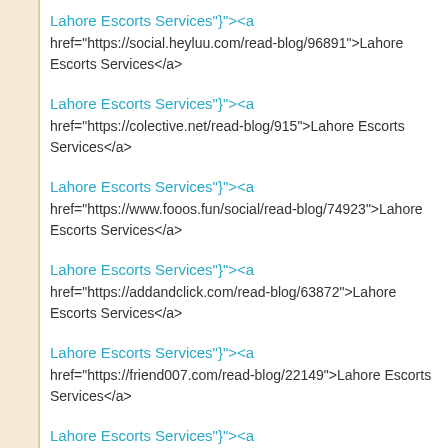Lahore Escorts Services"}"><a href="https://social.heyluu.com/read-blog/96891">Lahore Escorts Services</a>
Lahore Escorts Services"}"><a href="https://colective.net/read-blog/915">Lahore Escorts Services</a>
Lahore Escorts Services"}"><a href="https://www.fooos.fun/social/read-blog/74923">Lahore Escorts Services</a>
Lahore Escorts Services"}"><a href="https://addandclick.com/read-blog/63872">Lahore Escorts Services</a>
Lahore Escorts Services"}"><a href="https://friend007.com/read-blog/22149">Lahore Escorts Services</a>
Lahore Escorts Services"}"><a href="https://www.lawcodev.com/read-blog/79029">Lahore Escorts Services</a>